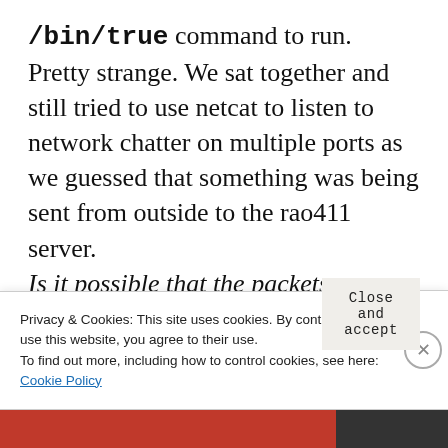/bin/true command to run. Pretty strange. We sat together and still tried to use netcat to listen to network chatter on multiple ports as we guessed that something was being sent from outside to the rao411 server. Is it possible that the packets were somehow being dropped even before they reached the network stack? We quickly
Privacy & Cookies: This site uses cookies. By continuing to use this website, you agree to their use.
To find out more, including how to control cookies, see here: Cookie Policy
Close and accept